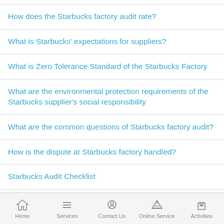How does the Starbucks factory audit rate?
What is Starbucks' expectations for suppliers?
What is Zero Tolerance Standard of the Starbucks Factory
What are the environmental protection requirements of the Starbucks supplier's social responsibility
What are the common questions of Starbucks factory audit?
How is the dispute at Starbucks factory handled?
Starbucks Audit Checklist
Home   Services   Contact Us   Online Service   Activities